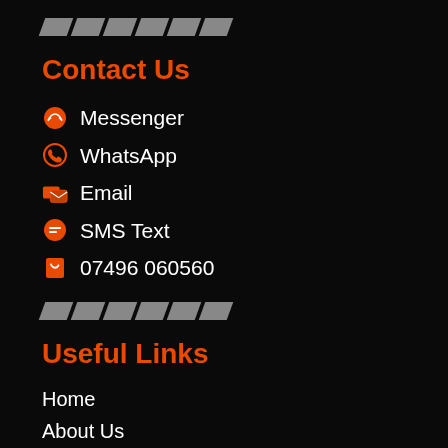[Figure (illustration): Diagonal stripes decorative element in grey]
Contact Us
Messenger
WhatsApp
Email
SMS Text
07496 060560
[Figure (illustration): Diagonal stripes decorative element in grey]
Useful Links
Home
About Us